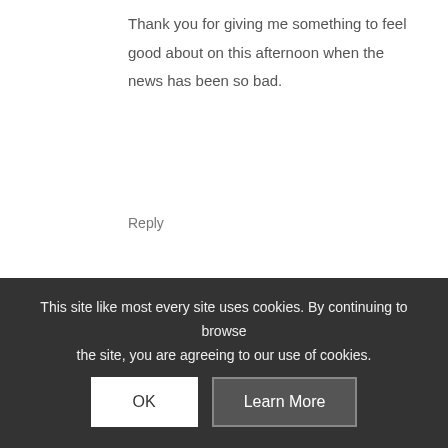Thank you for giving me something to feel good about on this afternoon when the news has been so bad.
Reply
Leave a Reply
Want to join the discussion?
Feel free to contribute!
Name *
Email
Website
This site like most every site uses cookies. By continuing to browse the site, you are agreeing to our use of cookies.
OK
Learn More